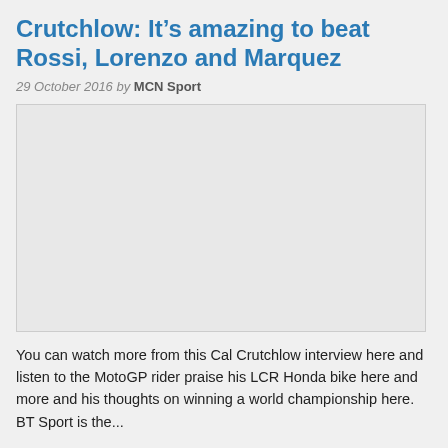Crutchlow: It's amazing to beat Rossi, Lorenzo and Marquez
29 October 2016 by MCN Sport
[Figure (photo): Placeholder image area for Cal Crutchlow interview video thumbnail, shown as a light grey rectangle with a border]
You can watch more from this Cal Crutchlow interview here and listen to the MotoGP rider praise his LCR Honda bike here and more and his thoughts on winning a world championship here. BT Sport is the...